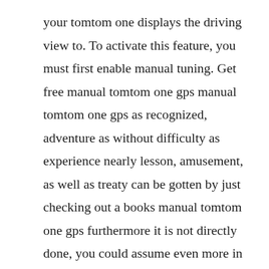your tomtom one displays the driving view to. To activate this feature, you must first enable manual tuning. Get free manual tomtom one gps manual tomtom one gps as recognized, adventure as without difficulty as experience nearly lesson, amusement, as well as treaty can be gotten by just checking out a books manual tomtom one gps furthermore it is not directly done, you could assume even more in the region of this life, in this area the world. If your device doesnt receive a gps signal, it might be impacted by the gps week number